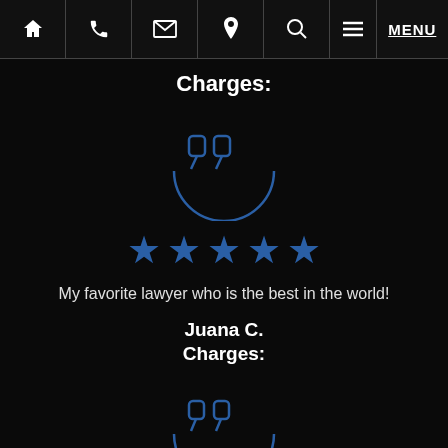Home | Phone | Email | Location | Search | Menu | MENU
Charges:
[Figure (illustration): Blue quotation mark icon inside a circular arc, outline style on dark background]
[Figure (illustration): Five blue filled stars rating]
My favorite lawyer who is the best in the world!
Juana C.
Charges:
[Figure (illustration): Blue quotation mark icon inside a circular arc, outline style on dark background (second instance)]